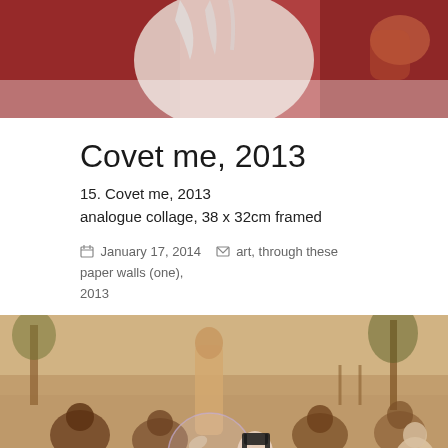[Figure (photo): Top portion of a photograph showing a white-skinned figure against a dark red curtain background, cropped at top of page]
Covet me, 2013
15. Covet me, 2013
analogue collage, 38 x 32cm framed
January 17, 2014   art, through these paper walls (one), 2013
[Figure (photo): Sepia-toned analogue collage photograph showing a group of indigenous people in an outdoor setting with trees, a tall figure standing in the center, and a translucent soap bubble in the foreground with a dark-haired face inserted into the scene]